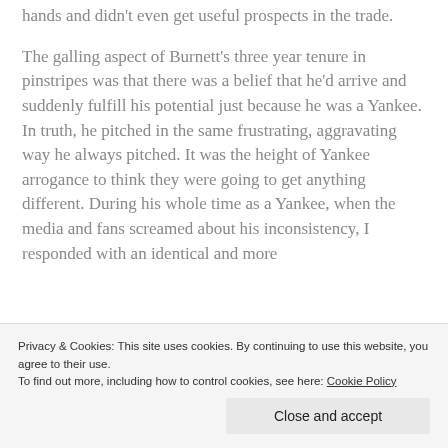hands and didn't even get useful prospects in the trade.
The galling aspect of Burnett's three year tenure in pinstripes was that there was a belief that he'd arrive and suddenly fulfill his potential just because he was a Yankee. In truth, he pitched in the same frustrating, aggravating way he always pitched. It was the height of Yankee arrogance to think they were going to get anything different. During his whole time as a Yankee, when the media and fans screamed about his inconsistency, I responded with an identical and more
Privacy & Cookies: This site uses cookies. By continuing to use this website, you agree to their use. To find out more, including how to control cookies, see here: Cookie Policy
Close and accept